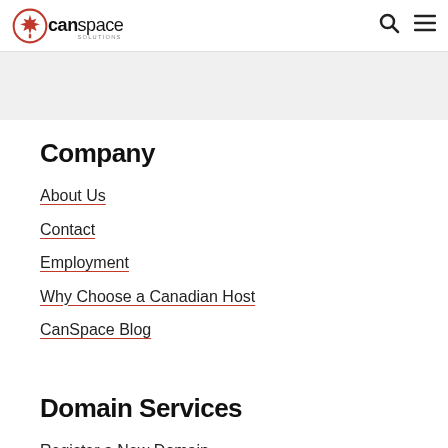CanSpace Solutions – navigation header with logo, search icon, and menu icon
Company
About Us
Contact
Employment
Why Choose a Canadian Host
CanSpace Blog
Domain Services
Register a New Domain
Transfer a Domain
Renew Existing Domains